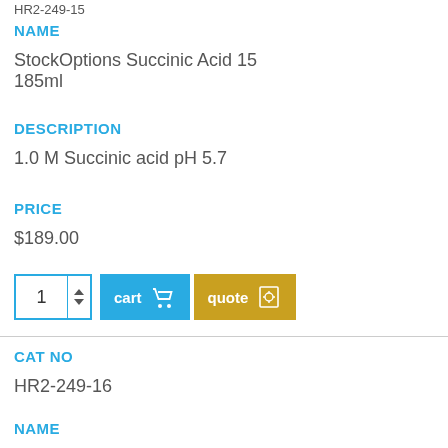NAME
StockOptions Succinic Acid 15 185ml
DESCRIPTION
1.0 M Succinic acid pH 5.7
PRICE
$189.00
CAT NO
HR2-249-16
NAME